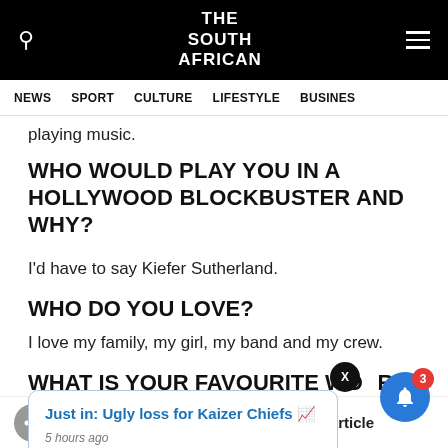THE SOUTH AFRICAN
NEWS  SPORT  CULTURE  LIFESTYLE  BUSINESS
playing music.
WHO WOULD PLAY YOU IN A HOLLYWOOD BLOCKBUSTER AND WHY?
I'd have to say Kiefer Sutherland.
WHO DO YOU LOVE?
I love my family, my girl, my band and my crew.
WHAT IS YOUR FAVOURITE WORD?
Just in: Ugly loss for Kaizer Chiefs 🏆
5 hours ago